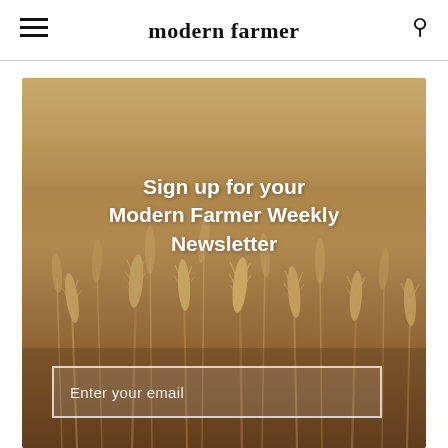modern farmer
[Figure (photo): Wheat/grass field with dried golden stalks and seed heads in soft focus, tan and brown tones]
Sign up for your Modern Farmer Weekly Newsletter
Enter your email